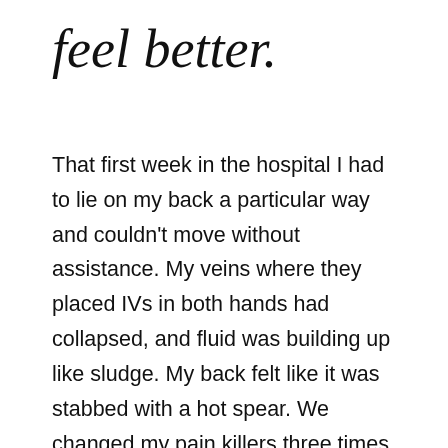feel better.
That first week in the hospital I had to lie on my back a particular way and couldn't move without assistance. My veins where they placed IVs in both hands had collapsed, and fluid was building up like sludge. My back felt like it was stabbed with a hot spear. We changed my pain killers three times, added three different anti-nausea meds, and laxatives. I spent the fourth night in the hospital on Oxycontin and warm prune juice, puking and poohing so violently, my back went into spasm. The pain was like nothing I have ever